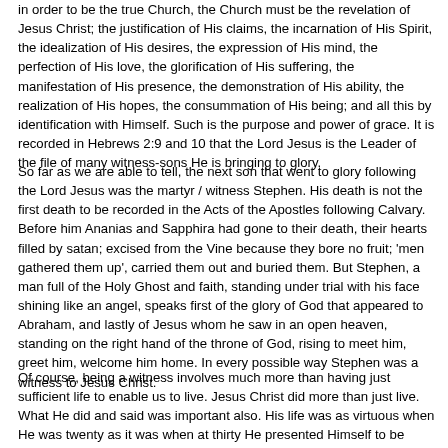in order to be the true Church, the Church must be the revelation of Jesus Christ; the justification of His claims, the incarnation of His Spirit, the idealization of His desires, the expression of His mind, the perfection of His love, the glorification of His suffering, the manifestation of His presence, the demonstration of His ability, the realization of His hopes, the consummation of His being; and all this by identification with Himself. Such is the purpose and power of grace. It is recorded in Hebrews 2:9 and 10 that the Lord Jesus is the Leader of the file of many witness-sons He is bringing to glory.
So far as we are able to tell, the next son that went to glory following the Lord Jesus was the martyr / witness Stephen. His death is not the first death to be recorded in the Acts of the Apostles following Calvary. Before him Ananias and Sapphira had gone to their death, their hearts filled by satan; excised from the Vine because they bore no fruit; 'men gathered them up', carried them out and buried them. But Stephen, a man full of the Holy Ghost and faith, standing under trial with his face shining like an angel, speaks first of the glory of God that appeared to Abraham, and lastly of Jesus whom he saw in an open heaven, standing on the right hand of the throne of God, rising to meet him, greet him, welcome him home. In every possible way Stephen was a witness to Jesus Christ.
Of course, being a witness involves much more than having just sufficient life to enable us to live. Jesus Christ did more than just live. What He did and said was important also. His life was as virtuous when He was twenty as it was when at thirty He presented Himself to be baptized in Jordan, and